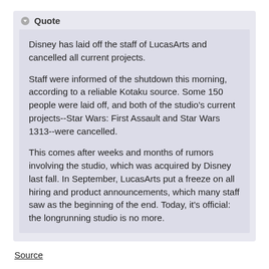Quote
Disney has laid off the staff of LucasArts and cancelled all current projects.

Staff were informed of the shutdown this morning, according to a reliable Kotaku source. Some 150 people were laid off, and both of the studio's current projects--Star Wars: First Assault and Star Wars 1313--were cancelled.

This comes after weeks and months of rumors involving the studio, which was acquired by Disney last fall. In September, LucasArts put a freeze on all hiring and product announcements, which many staff saw as the beginning of the end. Today, it's official: the longrunning studio is no more.
Source
I'm aghast.